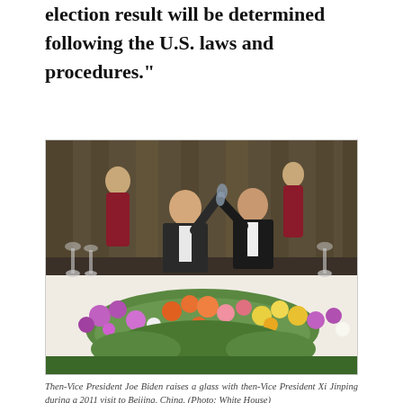election result will be determined following the U.S. laws and procedures."
[Figure (photo): Then-Vice President Joe Biden raises a glass with then-Vice President Xi Jinping during a 2011 visit to Beijing, China, at a formal dinner table decorated with colorful flowers, with staff in traditional Chinese dress standing behind them.]
Then-Vice President Joe Biden raises a glass with then-Vice President Xi Jinping during a 2011 visit to Beijing, China. (Photo: White House)